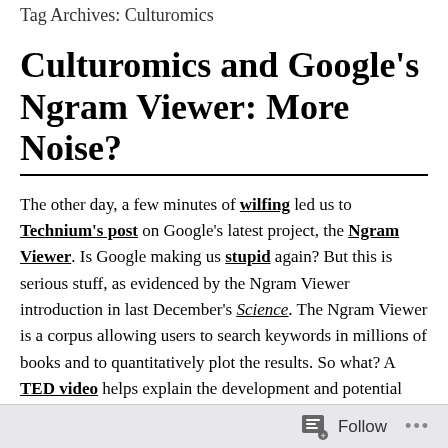Tag Archives: Culturomics
Culturomics and Google's Ngram Viewer: More Noise?
The other day, a few minutes of wilfing led us to Technium's post on Google's latest project, the Ngram Viewer. Is Google making us stupid again? But this is serious stuff, as evidenced by the Ngram Viewer introduction in last December's Science. The Ngram Viewer is a corpus allowing users to search keywords in millions of books and to quantitatively plot the results. So what? A TED video helps explain the development and potential